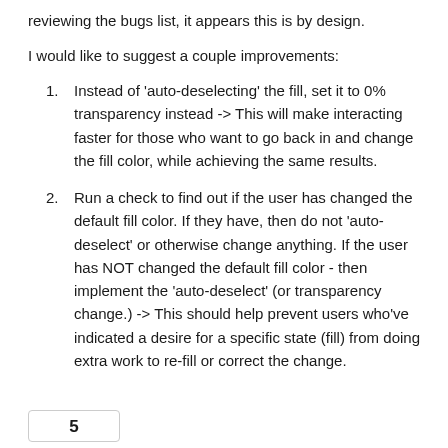reviewing the bugs list, it appears this is by design.
I would like to suggest a couple improvements:
Instead of 'auto-deselecting' the fill, set it to 0% transparency instead -> This will make interacting faster for those who want to go back in and change the fill color, while achieving the same results.
Run a check to find out if the user has changed the default fill color. If they have, then do not 'auto-deselect' or otherwise change anything. If the user has NOT changed the default fill color - then implement the 'auto-deselect' (or transparency change.) -> This should help prevent users who've indicated a desire for a specific state (fill) from doing extra work to re-fill or correct the change.
5